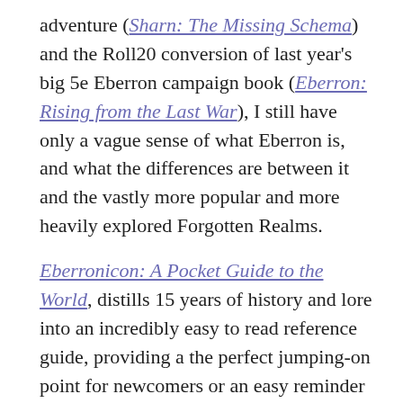adventure (Sharn: The Missing Schema) and the Roll20 conversion of last year's big 5e Eberron campaign book (Eberron: Rising from the Last War), I still have only a vague sense of what Eberron is, and what the differences are between it and the vastly more popular and more heavily explored Forgotten Realms.
Eberronicon: A Pocket Guide to the World, distills 15 years of history and lore into an incredibly easy to read reference guide, providing a the perfect jumping-on point for newcomers or an easy reminder for veterans.
A reference guide lives and dies by its organization and layout. The goal is to present surface-level information on a variety of topics, including locations, history, factions, culture, and politics, while maintaining an